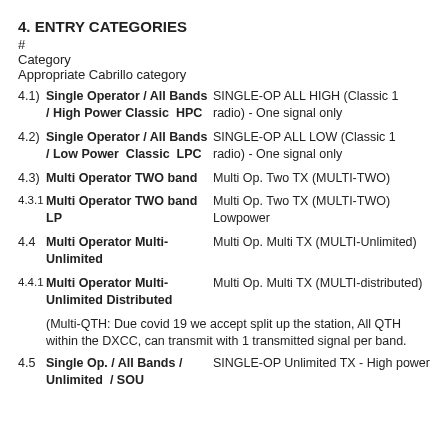4. ENTRY CATEGORIES
#
Category
Appropriate Cabrillo category
4.1) Single Operator / All Bands / High Power Classic HPC | SINGLE-OP ALL HIGH (Classic 1 radio) - One signal only
4.2) Single Operator / All Bands / Low Power Classic LPC | SINGLE-OP ALL LOW (Classic 1 radio) - One signal only
4.3) Multi Operator TWO band | Multi Op. Two TX (MULTI-TWO)
4.3.1 Multi Operator TWO band LP | Multi Op. Two TX (MULTI-TWO) Lowpower
4.4 Multi Operator Multi-Unlimited | Multi Op. Multi TX (MULTI-Unlimited)
4.4.1 Multi Operator Multi-Unlimited Distributed | Multi Op. Multi TX (MULTI-distributed)
(Multi-QTH: Due covid 19 we accept split up the station, All QTH within the DXCC, can transmit with 1 transmitted signal per band.
4.5 Single Op. / All Bands / Unlimited / SOU | SINGLE-OP Unlimited TX - High power